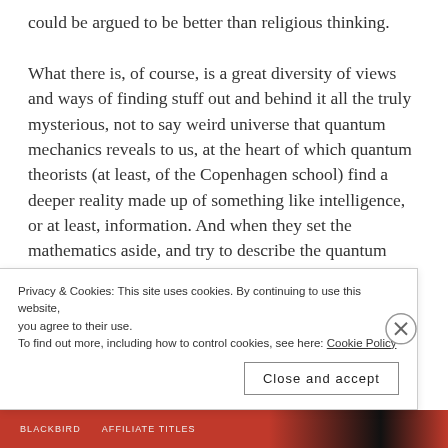could be argued to be better than religious thinking.
What there is, of course, is a great diversity of views and ways of finding stuff out and behind it all the truly mysterious, not to say weird universe that quantum mechanics reveals to us, at the heart of which quantum theorists (at least, of the Copenhagen school) find a deeper reality made up of something like intelligence, or at least, information. And when they set the mathematics aside, and try to describe the quantum world, quantum theorists reach for the metaphors just as easily and as often as
Privacy & Cookies: This site uses cookies. By continuing to use this website, you agree to their use.
To find out more, including how to control cookies, see here: Cookie Policy
Close and accept